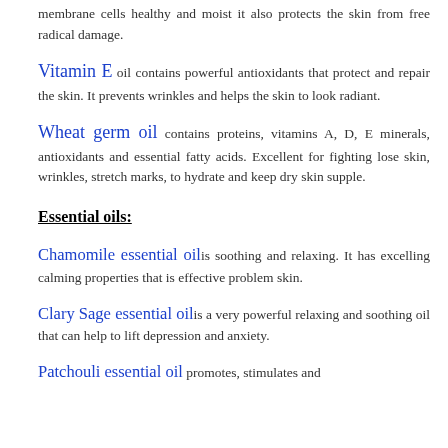membrane cells healthy and moist it also protects the skin from free radical damage.
Vitamin E oil contains powerful antioxidants that protect and repair the skin. It prevents wrinkles and helps the skin to look radiant.
Wheat germ oil contains proteins, vitamins A, D, E minerals, antioxidants and essential fatty acids. Excellent for fighting lose skin, wrinkles, stretch marks, to hydrate and keep dry skin supple.
Essential oils:
Chamomile essential oil is soothing and relaxing. It has excelling calming properties that is effective problem skin.
Clary Sage essential oil is a very powerful relaxing and soothing oil that can help to lift depression and anxiety.
Patchouli essential oil promotes, stimulates and